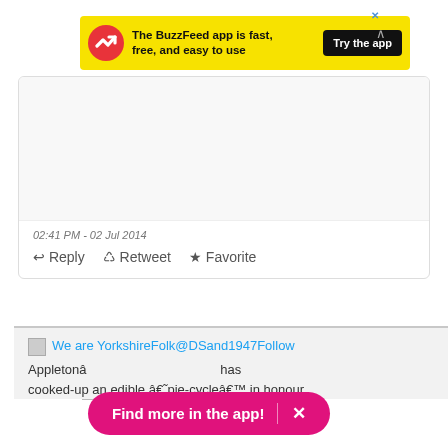[Figure (screenshot): BuzzFeed app advertisement banner in yellow with red logo, black 'Try the app' button, and close X button]
02:41 PM - 02 Jul 2014
← Reply  ↺ Retweet  ★ Favorite
[Figure (photo): White rose flower photo used as Twitter avatar]
We are YorkshireFolk@DSand1947Follow
Appletona€ has cooked-up an edible â€˜pie-cycleâ€™ in honour
[Figure (screenshot): Pink pill-shaped button saying 'Find more in the app!' with an X close button]